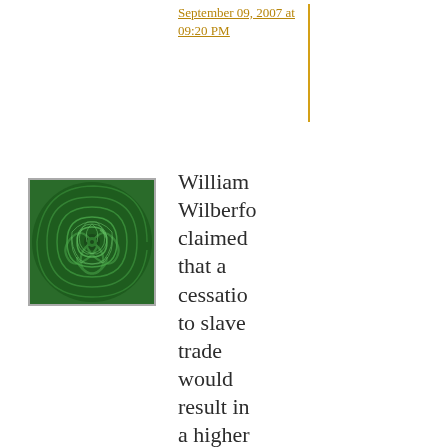September 09, 2007 at 09:20 PM
[Figure (illustration): Green swirling spiral fractal avatar image]
William Wilberforce claimed that a cessation to slave trade would result in a higher quality of life for the slaves through